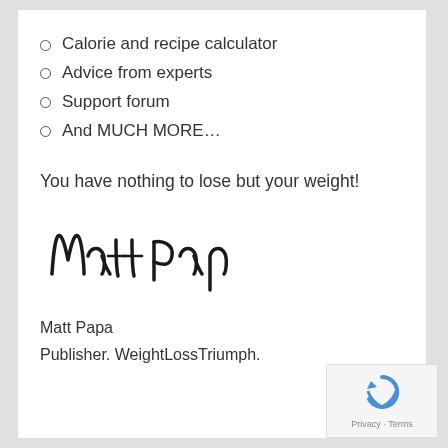Calorie and recipe calculator
Advice from experts
Support forum
And MUCH MORE…
You have nothing to lose but your weight!
[Figure (illustration): Handwritten signature reading 'Matt Pap']
Matt Papa
Publisher. WeightLossTriumph.
Privacy · Terms